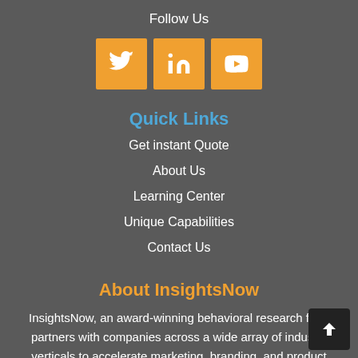Follow Us
[Figure (illustration): Three orange social media icon buttons: Twitter bird, LinkedIn 'in', and YouTube play button]
Quick Links
Get instant Quote
About Us
Learning Center
Unique Capabilities
Contact Us
About InsightsNow
InsightsNow, an award-winning behavioral research firm, partners with companies across a wide array of industry verticals to accelerate marketing, branding, and product development decisions for disruptive